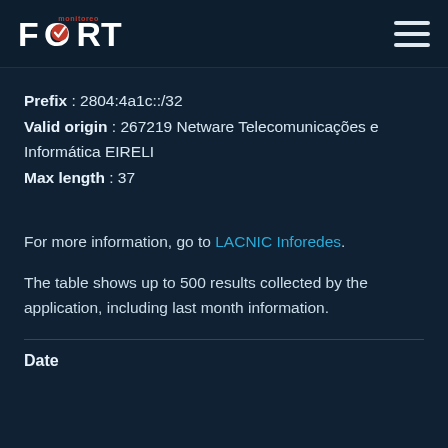Monitoreo FORT [logo] [hamburger menu]
Prefix : 2804:4a1c::/32
Valid origin : 267219 Netware Telecomunicações e Informática EIRELI
Max length : 37
For more information, go to LACNIC Inforedes.
The table shows up to 500 results collected by the application, including last month information.
Date